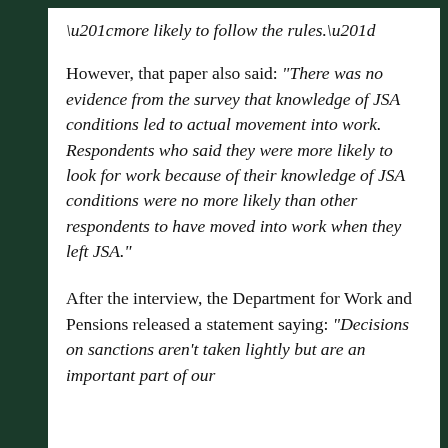“more likely to follow the rules.”
However, that paper also said: “There was no evidence from the survey that knowledge of JSA conditions led to actual movement into work. Respondents who said they were more likely to look for work because of their knowledge of JSA conditions were no more likely than other respondents to have moved into work when they left JSA.”
After the interview, the Department for Work and Pensions released a statement saying: “Decisions on sanctions aren’t taken lightly but are an important part of our